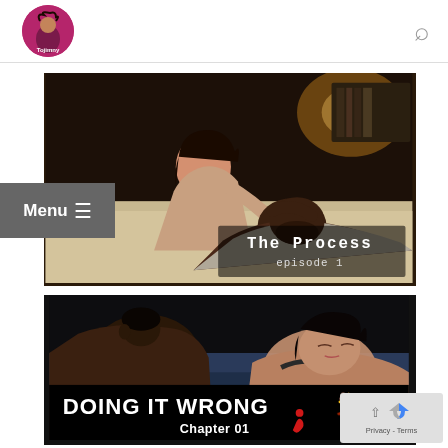Tojimny (logo) | Search
[Figure (photo): Two people lying together on a couch/bed in a warm lit room. Overlay text reads 'The Process episode 1']
[Figure (photo): Two people in an intimate embrace on a bed. Banner at bottom reads 'DOING IT WRONG Chapter 01' with a red figure logo]